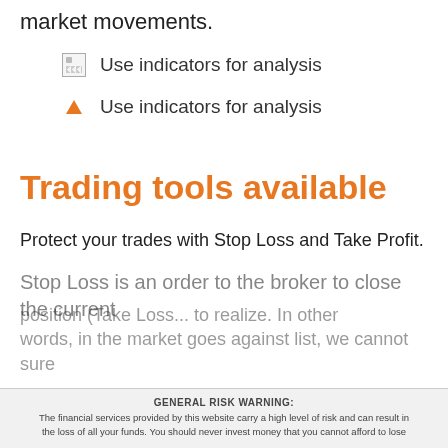market movements.
Use indicators for analysis
Use indicators for analysis
Trading tools available
Protect your trades with Stop Loss and Take Profit.
Stop Loss is an order to the broker to close the current position (Take Loss... to realize. In other words, in the market goes against list, we cannot sure
GENERAL RISK WARNING: The financial services provided by this website carry a high level of risk and can result in the loss of all your funds. You should never invest money that you cannot afford to lose